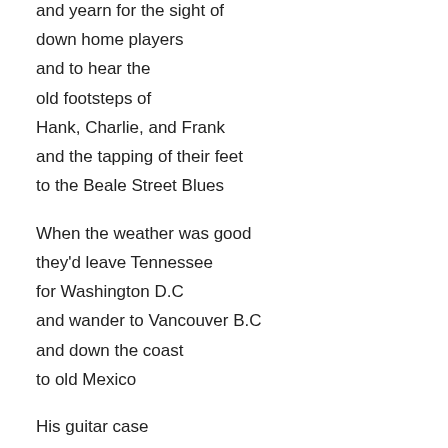and yearn for the sight of
down home players
and to hear the
old footsteps of
Hank, Charlie, and Frank
and the tapping of their feet
to the Beale Street Blues

When the weather was good
they'd leave Tennessee
for Washington D.C
and wander to Vancouver B.C
and down the coast
to old Mexico

His guitar case
lies quiet except
the clink clank